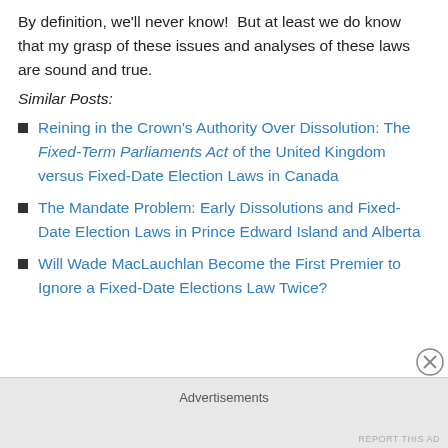By definition, we'll never know!  But at least we do know that my grasp of these issues and analyses of these laws are sound and true.
Similar Posts:
Reining in the Crown's Authority Over Dissolution: The Fixed-Term Parliaments Act of the United Kingdom versus Fixed-Date Election Laws in Canada
The Mandate Problem: Early Dissolutions and Fixed-Date Election Laws in Prince Edward Island and Alberta
Will Wade MacLauchlan Become the First Premier to Ignore a Fixed-Date Elections Law Twice?
Advertisements